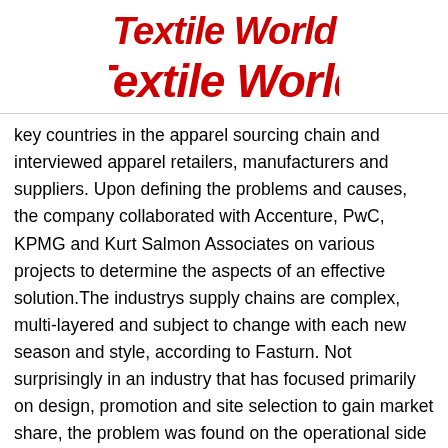Textile World
key countries in the apparel sourcing chain and interviewed apparel retailers, manufacturers and suppliers. Upon defining the problems and causes, the company collaborated with Accenture, PwC, KPMG and Kurt Salmon Associates on various projects to determine the aspects of an effective solution.The industrys supply chains are complex, multi-layered and subject to change with each new season and style, according to Fasturn. Not surprisingly in an industry that has focused primarily on design, promotion and site selection to gain market share, the problem was found on the operational side of the business, said William Seagrave, CEO. Our Operations Network was designed to help solve these challenges.By using the Internet and other